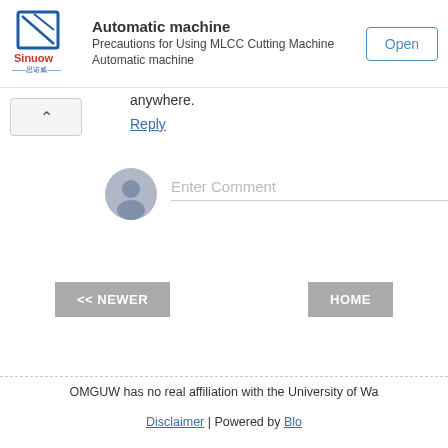[Figure (other): Sinuow brand advertisement banner with logo, text about MLCC Cutting Machine, and Open button]
anywhere.
Reply
[Figure (other): User avatar placeholder icon for comment input]
Enter Comment
<< NEWER
HOME
OMGUW has no real affiliation with the University of Wa
Disclaimer | Powered by Blo